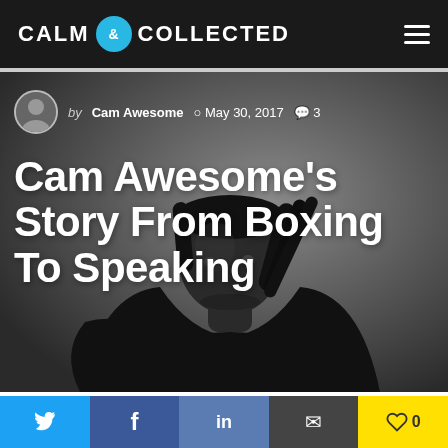CALM & COLLECTED
[Figure (photo): Black and white photo of a muscular man with dreadlocks wearing a black t-shirt, looking to the side, on a grey background]
by Cam Awesome  May 30, 2017  3
Cam Awesome's Story From Boxing To Speaking
When Dylan was kind enough to allow me to be a
[Figure (other): Social share bar with Twitter, Facebook, LinkedIn, Email, and Like (0) buttons]